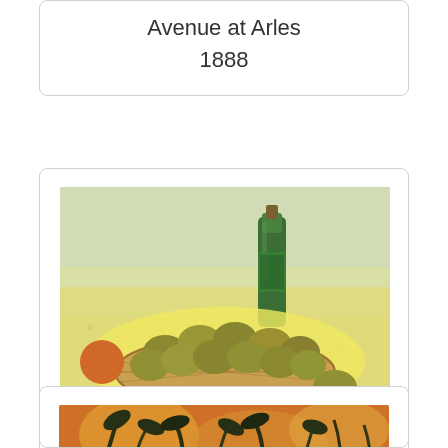Avenue at Arles
1888
[Figure (photo): Painting: Basket with Lemons, showing a wicker basket filled with lemons and a green bottle on a yellow table, by Van Gogh, 1888]
Basket with Lemons
1888
[Figure (photo): Bottom portion of a Van Gogh painting, partially visible, showing warm orange/yellow tones with dark floral or plant elements]